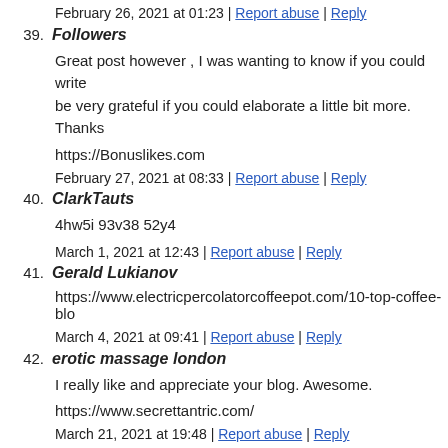February 26, 2021 at 01:23 | Report abuse | Reply
39. Followers
Great post however , I was wanting to know if you could write be very grateful if you could elaborate a little bit more. Thanks
https://Bonuslikes.com
February 27, 2021 at 08:33 | Report abuse | Reply
40. ClarkTauts
4hw5i 93v38 52y4
March 1, 2021 at 12:43 | Report abuse | Reply
41. Gerald Lukianov
https://www.electricpercolatorcoffeepot.com/10-top-coffee-blo
March 4, 2021 at 09:41 | Report abuse | Reply
42. erotic massage london
I really like and appreciate your blog. Awesome.
https://www.secrettantric.com/
March 21, 2021 at 19:48 | Report abuse | Reply